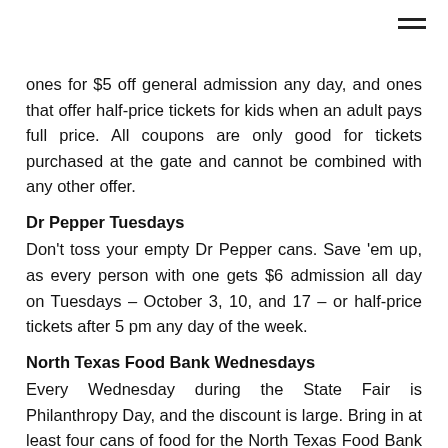ones for $5 off general admission any day, and ones that offer half-price tickets for kids when an adult pays full price. All coupons are only good for tickets purchased at the gate and cannot be combined with any other offer.
Dr Pepper Tuesdays
Don't toss your empty Dr Pepper cans. Save 'em up, as every person with one gets $6 admission all day on Tuesdays – October 3, 10, and 17 – or half-price tickets after 5 pm any day of the week.
North Texas Food Bank Wednesdays
Every Wednesday during the State Fair is Philanthropy Day, and the discount is large. Bring in at least four cans of food for the North Texas Food Bank on October